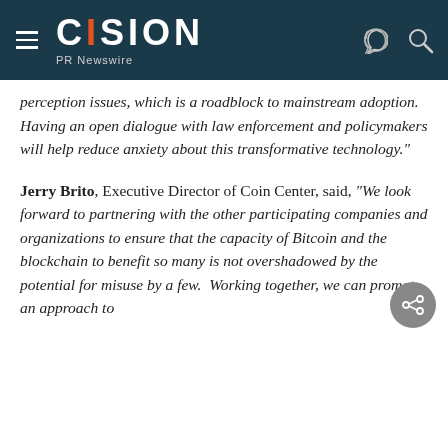CISION PR Newswire
perception issues, which is a roadblock to mainstream adoption.  Having an open dialogue with law enforcement and policymakers will help reduce anxiety about this transformative technology."
Jerry Brito, Executive Director of Coin Center, said, "We look forward to partnering with the other participating companies and organizations to ensure that the capacity of Bitcoin and the blockchain to benefit so many is not overshadowed by the potential for misuse by a few.  Working together, we can promote an approach to